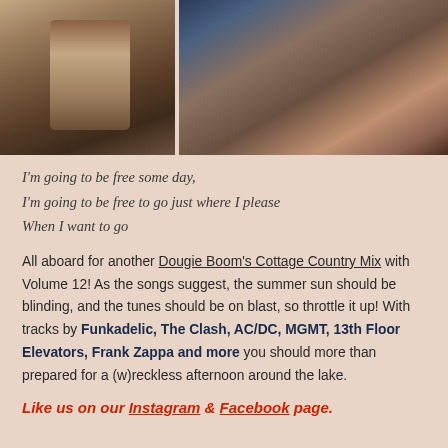[Figure (photo): Two side-by-side photos: left shows a woman with dark hair wearing a denim jacket with red accents; right shows a person in a red plaid shirt sitting in what appears to be a vehicle]
I'm going to be free some day,
I'm going to be free to go just where I please
When I want to go
All aboard for another Dougie Boom's Cottage Country Mix with Volume 12! As the songs suggest, the summer sun should be blinding, and the tunes should be on blast, so throttle it up! With tracks by Funkadelic, The Clash, AC/DC, MGMT, 13th Floor Elevators, Frank Zappa and more you should more than prepared for a (w)reckless afternoon around the lake.
Like us on our Instagram & Facebook page.